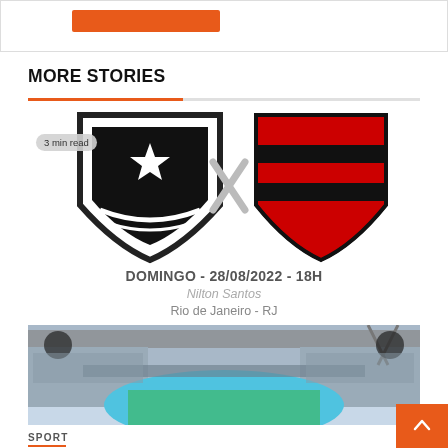[Figure (other): Orange button remnant at top of page inside a bordered box]
MORE STORIES
[Figure (illustration): Botafogo crest (black and white) versus Flamengo crest (red and black stripes) with a grey X between them. Badge '3 min read' overlaid on left side.]
DOMINGO - 28/08/2022 - 18H
Nilton Santos
Rio de Janeiro - RJ
[Figure (photo): Stadium aerial interior view showing stands and pitch (Nilton Santos stadium)]
SPORT
Botafogo x Flamengo: See where to watch, lineups, embezzlement and arbitration |